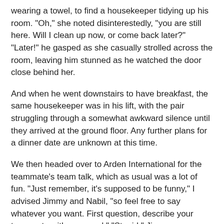wearing a towel, to find a housekeeper tidying up his room. "Oh," she noted disinterestedly, "you are still here. Will I clean up now, or come back later?" "Later!" he gasped as she casually strolled across the room, leaving him stunned as he watched the door close behind her.
And when he went downstairs to have breakfast, the same housekeeper was in his lift, with the pair struggling through a somewhat awkward silence until they arrived at the ground floor. Any further plans for a dinner date are unknown at this time.
We then headed over to Arden International for the teammate's team talk, which as usual was a lot of fun. "Just remember, it's supposed to be funny," I advised Jimmy and Nabil, "so feel free to say whatever you want. First question, describe your teammate with one word." "Stupid," Jimmy deadpanned, and the pair fell about laughing. As usual, don't miss the article in The Insider, where you'll learn about Nabil's friends and their hairdressing abilities, the pros and cons of social media, and Jimmy's surprising use of trucks in his physical training regime.
From there it was straight on, and the world below us along the...